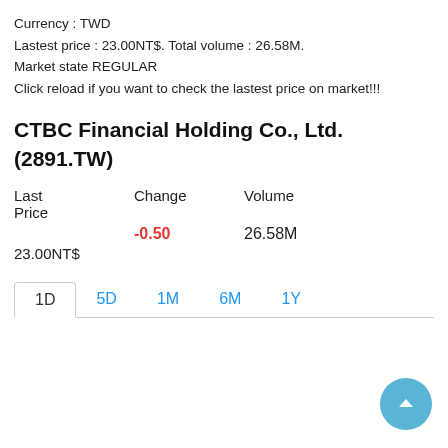Currency : TWD
Lastest price : 23.00NT$. Total volume : 26.58M.
Market state REGULAR
Click reload if you want to check the lastest price on market!!!
CTBC Financial Holding Co., Ltd. (2891.TW)
| Last Price | Change | Volume |
| --- | --- | --- |
| 23.00NT$ | -0.50 | 26.58M |
[Figure (other): Tab navigation bar with options: 1D (active), 5D, 1M, 6M, 1Y]
[Figure (other): Scroll-to-top circular button with upward arrow, blue background, bottom-right corner]